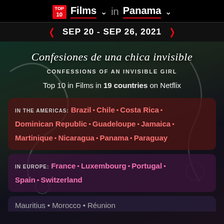TOP 10 Films in Panama
SEP 20 - SEP 26, 2021
Confesiones de una chica invisible
CONFESSIONS OF AN INVISIBLE GIRL
Top 10 in Films in 19 countries on Netflix
IN THE AMERICAS: Brazil • Chile • Costa Rica • Dominican Republic • Guadeloupe • Jamaica • Martinique • Nicaragua • Panama • Paraguay
IN EUROPE: France • Luxembourg • Portugal • Spain • Switzerland
Mauritius • Morocco • Réunion